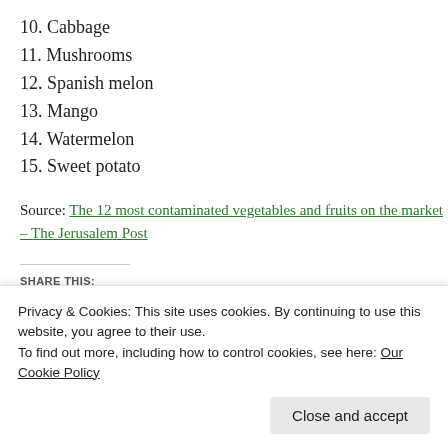10. Cabbage
11. Mushrooms
12. Spanish melon
13. Mango
14. Watermelon
15. Sweet potato
Source: The 12 most contaminated vegetables and fruits on the market – The Jerusalem Post
SHARE THIS:
Privacy & Cookies: This site uses cookies. By continuing to use this website, you agree to their use. To find out more, including how to control cookies, see here: Our Cookie Policy